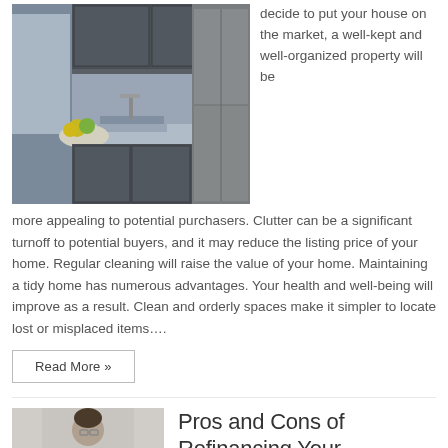[Figure (photo): Kitchen interior with stainless steel appliances, sink, and bowl of fruit on counter]
decide to put your house on the market, a well-kept and well-organized property will be more appealing to potential purchasers. Clutter can be a significant turnoff to potential buyers, and it may reduce the listing price of your home. Regular cleaning will raise the value of your home. Maintaining a tidy home has numerous advantages. Your health and well-being will improve as a result. Clean and orderly spaces make it simpler to locate lost or misplaced items….
Read More »
[Figure (photo): Person in professional attire, partial view]
Pros and Cons of Refinancing Your